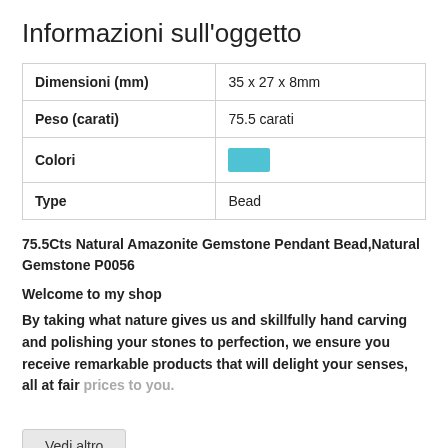Informazioni sull'oggetto
| Dimensioni (mm) | 35 x 27 x 8mm |
| Peso (carati) | 75.5 carati |
| Colori | [color swatch: light blue] |
| Type | Bead |
75.5Cts Natural Amazonite Gemstone Pendant Bead,Natural Gemstone P0056
Welcome to my shop
By taking what nature gives us and skillfully hand carving and polishing your stones to perfection, we ensure you receive remarkable products that will delight your senses, all at fair prices to you.